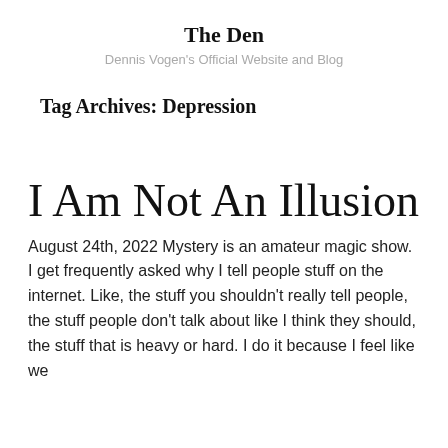The Den
Dennis Vogen's Official Website and Blog
Tag Archives: Depression
I Am Not An Illusion
August 24th, 2022 Mystery is an amateur magic show. I get frequently asked why I tell people stuff on the internet. Like, the stuff you shouldn't really tell people, the stuff people don't talk about like I think they should, the stuff that is heavy or hard. I do it because I feel like we